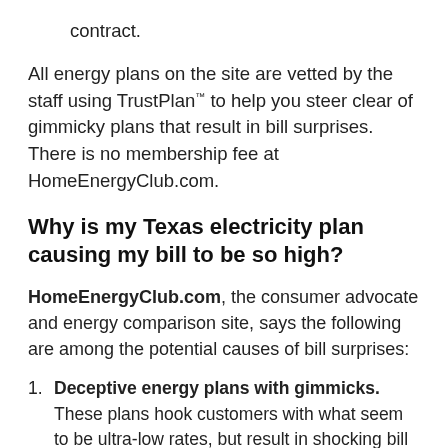contract.
All energy plans on the site are vetted by the staff using TrustPlan™ to help you steer clear of gimmicky plans that result in bill surprises. There is no membership fee at HomeEnergyClub.com.
Why is my Texas electricity plan causing my bill to be so high?
HomeEnergyClub.com, the consumer advocate and energy comparison site, says the following are among the potential causes of bill surprises:
Deceptive energy plans with gimmicks. These plans hook customers with what seem to be ultra-low rates, but result in shocking bill surprises.
HomeEnergyClub.com to be determined